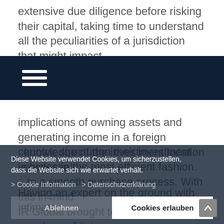extensive due diligence before risking their capital, taking time to understand all the peculiarities of a jurisdiction that might impact
[Figure (other): Dark navy navigation bar with hamburger menu icon (three horizontal white lines)]
implications of owning assets and generating income in a foreign country, structuring their investment vehicles in the most efficient fashion.

Having an expert on the ground with intimate knowledge of the investment location is essential to a smooth purchase process. With this in mind IR Global brought together six members of its real estate group to discuss cross-border real estate transactions. The aim of the feature is to give members and their clients valuable insight into the real estate transaction process cross-
Diese Website verwendet Cookies, um sicherzustellen, dass die Website sich wie erwartet verhält.
> Cookie Information  > Datenschutzerklärung
Ablehnen
Cookies erlauben